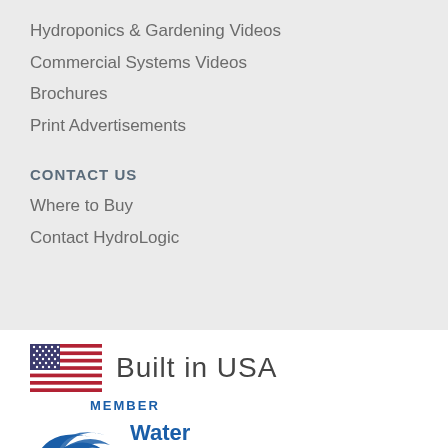Hydroponics & Gardening Videos
Commercial Systems Videos
Brochures
Print Advertisements
CONTACT US
Where to Buy
Contact HydroLogic
[Figure (logo): US flag icon with 'Built in USA' text and 'MEMBER' label above Water Quality Association logo with swoosh graphic]
[Figure (logo): Water Quality Association logo with blue swoosh and text 'Water Quality. ASSOCIATION']